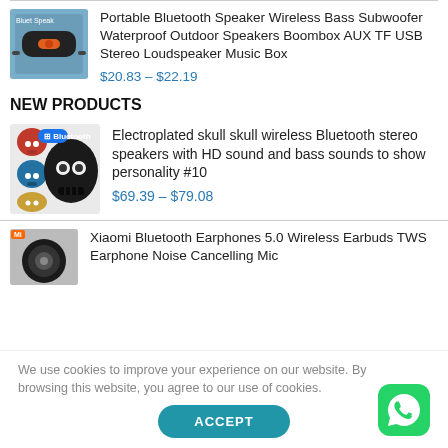[Figure (photo): Portable Bluetooth speaker product image]
Portable Bluetooth Speaker Wireless Bass Subwoofer Waterproof Outdoor Speakers Boombox AUX TF USB Stereo Loudspeaker Music Box
$20.83 – $22.19
NEW PRODUCTS
[Figure (photo): Electroplated skull wireless Bluetooth speaker product image with multiple color variants shown]
Electroplated skull skull wireless Bluetooth stereo speakers with HD sound and bass sounds to show personality #10
$69.39 – $79.08
[Figure (photo): Xiaomi Bluetooth earphones product image with Xiaomi orange badge]
Xiaomi Bluetooth Earphones 5.0 Wireless Earbuds TWS Earphone Noise Cancelling Mic
We use cookies to improve your experience on our website. By browsing this website, you agree to our use of cookies.
ACCEPT